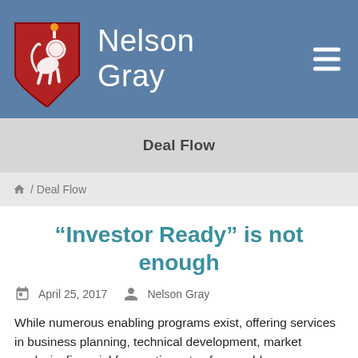[Figure (logo): Nelson Gray logo: red heraldic shield with white lion and torch, beside the text 'Nelson Gray' in white on a steel-blue header bar with a hamburger menu icon on the right.]
Deal Flow
🏠 / Deal Flow
“Investor Ready” is not enough
April 25, 2017   Nelson Gray
While numerous enabling programs exist, offering services in business planning, technical development, market analysis, financial forecasting, etc., few enabler managers or entrepreneurs have been through the fundraising process. As such, most